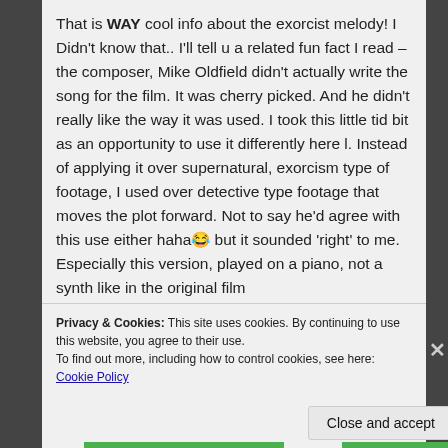That is WAY cool info about the exorcist melody! I Didn't know that.. I'll tell u a related fun fact I read – the composer, Mike Oldfield didn't actually write the song for the film. It was cherry picked. And he didn't really like the way it was used. I took this little tid bit as an opportunity to use it differently here l. Instead of applying it over supernatural, exorcism type of footage, I used over detective type footage that moves the plot forward. Not to say he'd agree with this use either haha😂 but it sounded 'right' to me. Especially this version, played on a piano, not a synth like in the original film
Privacy & Cookies: This site uses cookies. By continuing to use this website, you agree to their use.
To find out more, including how to control cookies, see here: Cookie Policy